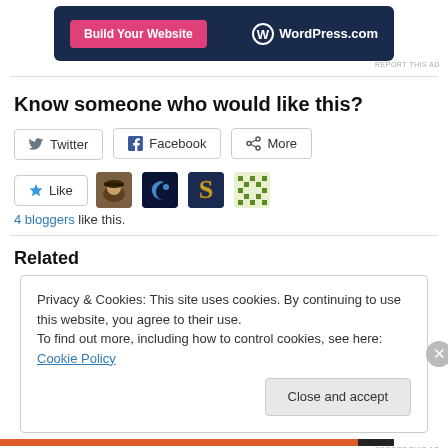[Figure (other): WordPress.com advertisement banner with pink 'Build Your Website' button and WordPress logo on dark navy background]
REPORT THIS AD
Know someone who would like this?
Twitter  Facebook  More
Like  [4 blogger avatars]
4 bloggers like this.
Related
Privacy & Cookies: This site uses cookies. By continuing to use this website, you agree to their use.
To find out more, including how to control cookies, see here: Cookie Policy
Close and accept
REPORT THIS AD